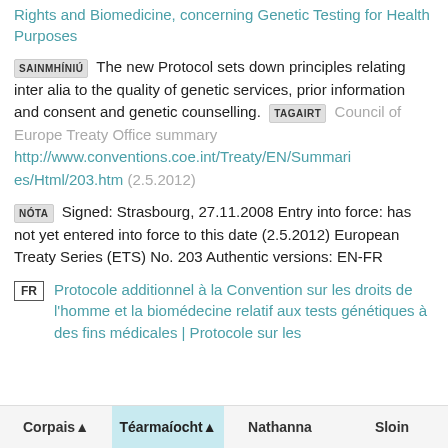Rights and Biomedicine, concerning Genetic Testing for Health Purposes
SAINMHÍNIÚ The new Protocol sets down principles relating inter alia to the quality of genetic services, prior information and consent and genetic counselling. TAGAIRT Council of Europe Treaty Office summary http://www.conventions.coe.int/Treaty/EN/Summaries/Html/203.htm (2.5.2012)
NÓTA Signed: Strasbourg, 27.11.2008 Entry into force: has not yet entered into force to this date (2.5.2012) European Treaty Series (ETS) No. 203 Authentic versions: EN-FR
FR Protocole additionnel à la Convention sur les droits de l'homme et la biomédecine relatif aux tests génétiques à des fins médicales | Protocole sur les
Corpais ▲  Téarmaíocht ▲  Nathanna  Sloin